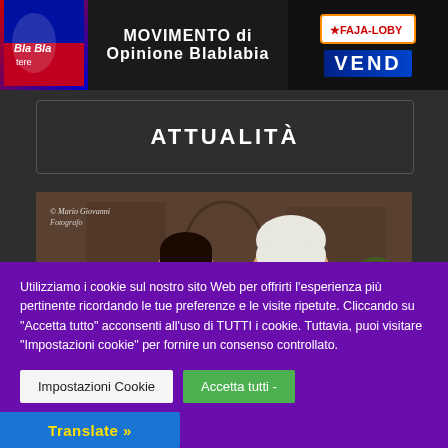MOVIMENTO di Opinione Blablabia
ATTUALITÀ
[Figure (photo): Two women at an indoor event, one with dark hair and one with white/blonde hair, photographed by Mario Giovanni Fotografo]
Utilizziamo i cookie sul nostro sito Web per offrirti l'esperienza più pertinente ricordando le tue preferenze e le visite ripetute. Cliccando su "Accetta tutto" acconsenti all'uso di TUTTI i cookie. Tuttavia, puoi visitare "Impostazioni cookie" per fornire un consenso controllato.
Impostazioni Cookie
Accetta tutti -
Translate »